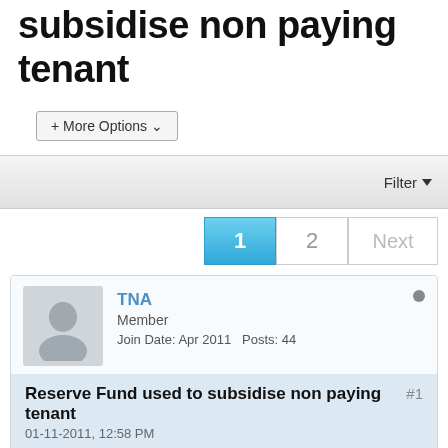subsidise non paying tenant
+ More Options ▾
Filter ▼
1  2  Next
TNA
Member
Join Date: Apr 2011  Posts: 44
Reserve Fund used to subsidise non paying tenant  #1
01-11-2011, 12:58 PM
Please can somebody tell me whether "a reserve fund set aside for future maintenance and repairs" can be used by the M/M to...